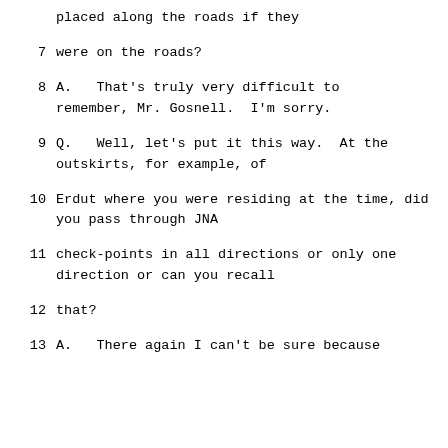placed along the roads if they
7      were on the roads?
8      A.   That's truly very difficult to remember, Mr. Gosnell.  I'm sorry.
9      Q.   Well, let's put it this way.  At the outskirts, for example, of
10     Erdut where you were residing at the time, did you pass through JNA
11     check-points in all directions or only one direction or can you recall
12     that?
13     A.   There again I can't be sure because